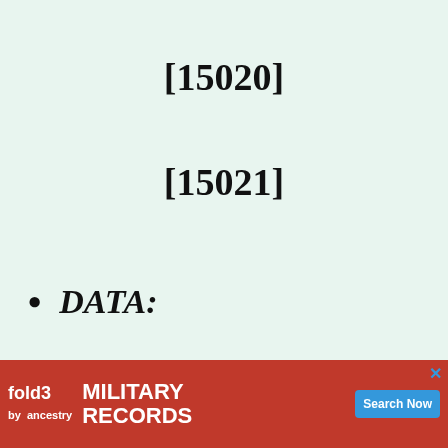[15020]
[15021]
DATA:
He married
(2) Sarah (        )